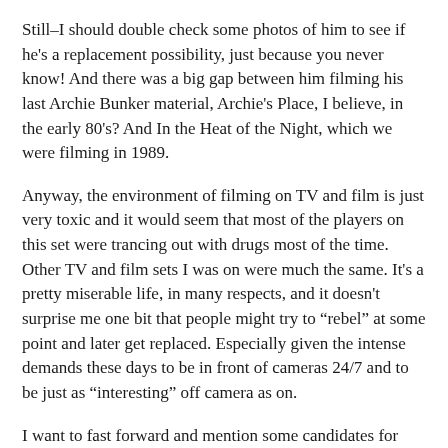Still–I should double check some photos of him to see if he's a replacement possibility, just because you never know! And there was a big gap between him filming his last Archie Bunker material, Archie's Place, I believe, in the early 80's? And In the Heat of the Night, which we were filming in 1989.
Anyway, the environment of filming on TV and film is just very toxic and it would seem that most of the players on this set were trancing out with drugs most of the time. Other TV and film sets I was on were much the same. It's a pretty miserable life, in many respects, and it doesn't surprise me one bit that people might try to “rebel” at some point and later get replaced. Especially given the intense demands these days to be in front of cameras 24/7 and to be just as “interesting” off camera as on.
I want to fast forward and mention some candidates for replacement that I'd like to research more up ahead.